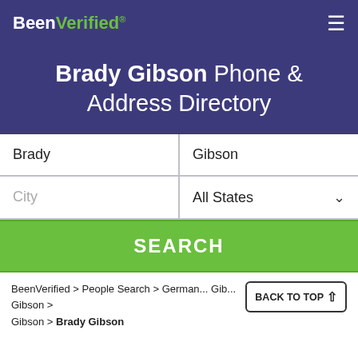BeenVerified .com [logo] ≡
Brady Gibson Phone & Address Directory
Brady | Gibson
City | All States
SEARCH
BeenVerified > People Search > German... > Gib... Gibson > Brady Gibson